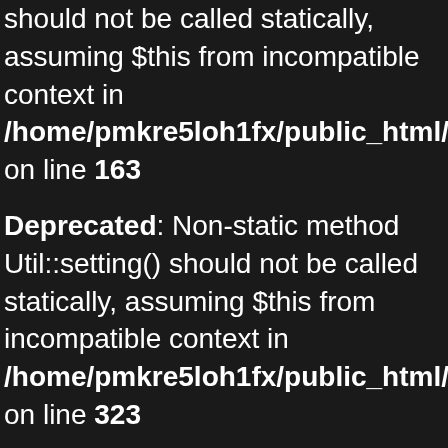should not be called statically, assuming $this from incompatible context in /home/pmkre5loh1fx/public_html/app/app_controller on line 163
Deprecated: Non-static method Util::setting() should not be called statically, assuming $this from incompatible context in /home/pmkre5loh1fx/public_html/app/app_controller on line 323
Deprecated: Non-static method Util::setting() should not be called statically, assuming $this from incompatible context in /home/pmkre5loh1fx/public_html/app/app_controller on line 324